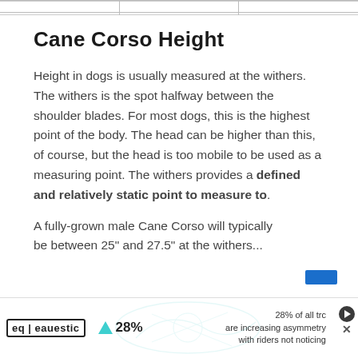|  |  |  |
| --- | --- | --- |
|   |   |   |
Cane Corso Height
Height in dogs is usually measured at the withers. The withers is the spot halfway between the shoulder blades. For most dogs, this is the highest point of the body. The head can be higher than this, of course, but the head is too mobile to be used as a measuring point. The withers provides a defined and relatively static point to measure to.
A fully-grown male Cane Corso will typically be between 25" and 27.5" at the withers...
[Figure (advertisement): Eauestic ad banner: logo with 'eq | eauestic', triangle icon, '28%', background graphic of horse, text '28% of all trc are increasing asymmetry with riders not noticing', play button and close button icons]